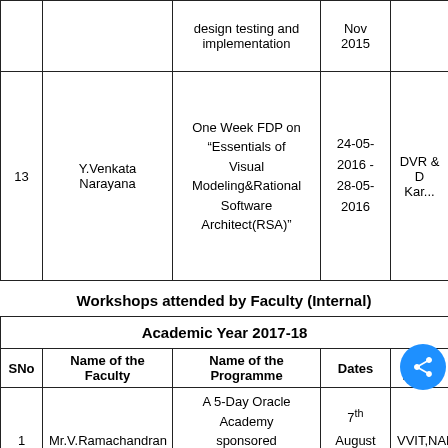| SNo | Name of the Faculty | Name of the Programme | Dates | Host Inst... |
| --- | --- | --- | --- | --- |
|  |  | design testing and implementation | Nov 2015 |  |
| 13 | Y.Venkata Narayana | One Week FDP on "Essentials of Visual Modeling&Rational Software Architect(RSA)" | 24-05-2016 - 28-05-2016 | DVR & D Kar... |
Workshops attended by Faculty (Internal)
| Academic Year 2017-18 |
| --- |
| SNo | Name of the Faculty | Name of the Programme | Dates | Host Inst... |
| 1 | Mr.V.Ramachandran | A 5-Day Oracle Academy sponsored workshop on "..." | 7th August to 11th | VVIT,NAM... |